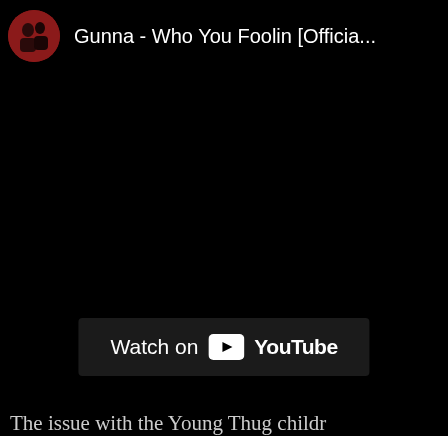[Figure (screenshot): YouTube video embed showing Gunna - Who You Foolin [Official...] with a red circular avatar thumbnail on the left and the video title truncated on the right, over a black background]
Watch on YouTube
The issue with the Young Thug childr...